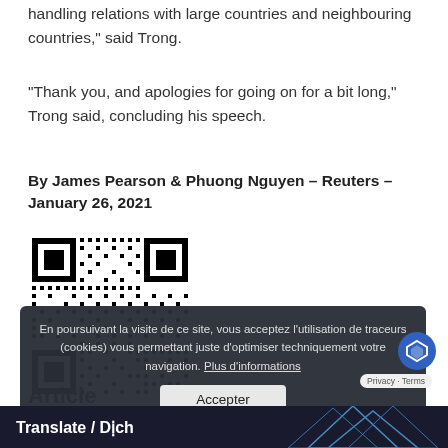handling relations with large countries and neighbouring countries," said Trong.
“Thank you, and apologies for going on for a bit long,” Trong said, concluding his speech.
By James Pearson & Phuong Nguyen – Reuters – January 26, 2021
[Figure (other): QR code image]
Article
En poursuivant la visite de ce site, vous acceptez l’utilisation de traceurs (cookies) vous permettant juste d’optimiser techniquement votre navigation. Plus d’informations
Accepter
Translate / Dịch